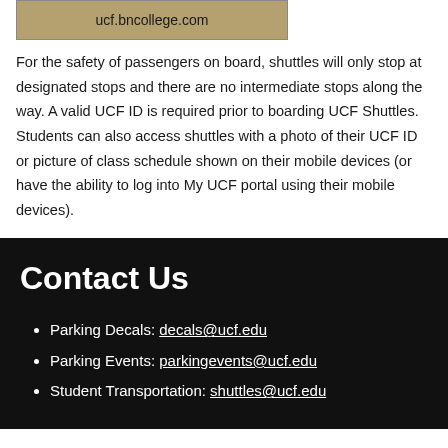[Figure (photo): Image showing ucf.bncollege.com website or banner with logo/coin imagery]
For the safety of passengers on board, shuttles will only stop at designated stops and there are no intermediate stops along the way. A valid UCF ID is required prior to boarding UCF Shuttles. Students can also access shuttles with a photo of their UCF ID or picture of class schedule shown on their mobile devices (or have the ability to log into My UCF portal using their mobile devices).
Contact Us
Parking Decals: decals@ucf.edu
Parking Events: parkingevents@ucf.edu
Student Transportation: shuttles@ucf.edu